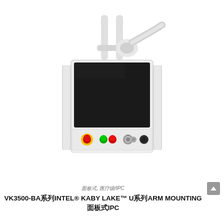[Figure (photo): Industrial panel PC mounted on a white arm mounting bracket. The device features a widescreen black display panel with a white bezel, flanked by two vertical silver rail handles. Below the screen on the front panel are control buttons: a yellow/red emergency stop button on the left, green and red round buttons in the center-left, two concentric selector switches in the center-right, and a black round button on the right. The arm/bracket is white and connects at the top center of the unit.]
面板式, 医疗级/IPC
VK3500-BA系列INTEL® KABY LAKE™ U系列ARM MOUNTING 面板式IPC